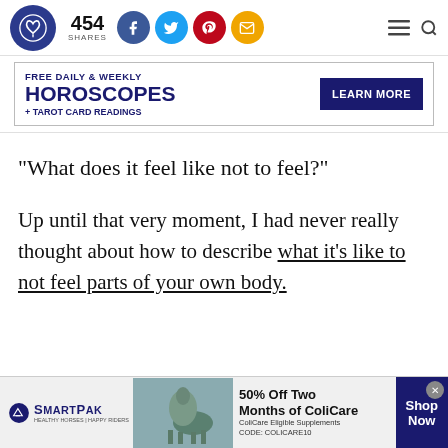454 SHARES — social share bar with Facebook, Twitter, Pinterest, Email icons
[Figure (infographic): Advertisement banner: FREE DAILY & WEEKLY HOROSCOPES + TAROT CARD READINGS — LEARN MORE button]
“What does it feel like not to feel?”
Up until that very moment, I had never really thought about how to describe what it’s like to not feel parts of your own body.
[Figure (infographic): SmartPak advertisement: 50% Off Two Months of ColiCare, ColiCare Eligible Supplements, CODE: COLICARE10, Shop Now button]